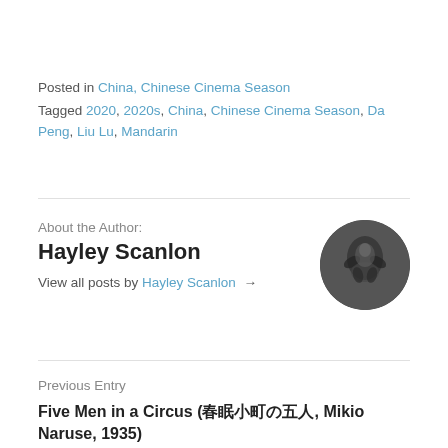Posted in China, Chinese Cinema Season
Tagged 2020, 2020s, China, Chinese Cinema Season, Da Peng, Liu Lu, Mandarin
About the Author:
Hayley Scanlon
[Figure (photo): Circular black and white author photo showing hands and face]
View all posts by Hayley Scanlon →
Previous Entry
Five Men in a Circus (椿姫, Mikio Naruse, 1935)